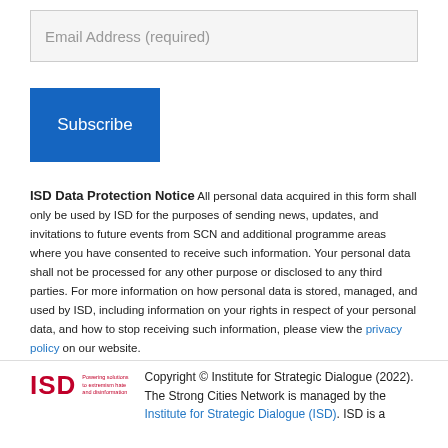Email Address (required)
Subscribe
ISD Data Protection Notice All personal data acquired in this form shall only be used by ISD for the purposes of sending news, updates, and invitations to future events from SCN and additional programme areas where you have consented to receive such information. Your personal data shall not be processed for any other purpose or disclosed to any third parties. For more information on how personal data is stored, managed, and used by ISD, including information on your rights in respect of your personal data, and how to stop receiving such information, please view the privacy policy on our website.
[Figure (logo): ISD logo with red ISD letters and tagline 'Powering solutions to extremism hate and disinformation']
Copyright © Institute for Strategic Dialogue (2022). The Strong Cities Network is managed by the Institute for Strategic Dialogue (ISD). ISD is a